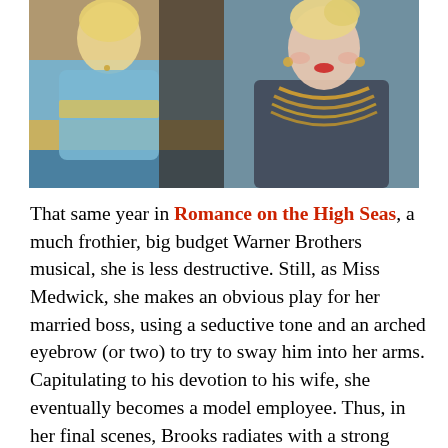[Figure (photo): Two side-by-side vintage photos of women. Left photo shows a blonde woman in a blue and yellow striped outfit seated. Right photo shows a woman with styled blonde updo hair wearing a dark sparkly top with layered gold necklaces.]
That same year in Romance on the High Seas, a much frothier, big budget Warner Brothers musical, she is less destructive. Still, as Miss Medwick, she makes an obvious play for her married boss, using a seductive tone and an arched eyebrow (or two) to try to sway him into her arms. Capitulating to his devotion to his wife, she eventually becomes a model employee. Thus, in her final scenes, Brooks radiates with a strong efficiency and warmth.
Despite those qualities, seemingly due to a disastrous